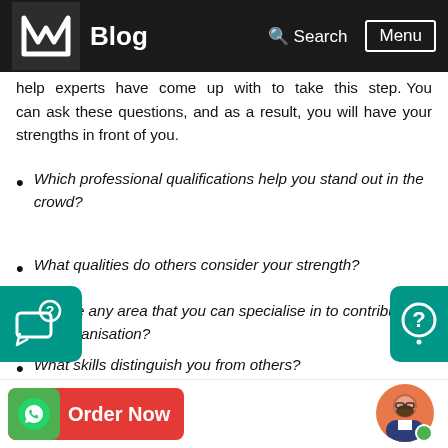Blog  Search  Menu
help experts have come up with to take this step. You can ask these questions, and as a result, you will have your strengths in front of you.
Which professional qualifications help you stand out in the crowd?
What qualities do others consider your strength?
Is there any area that you can specialise in to contribute to the organisation?
What skills distinguish you from others?
What are the successful projects undertaken by